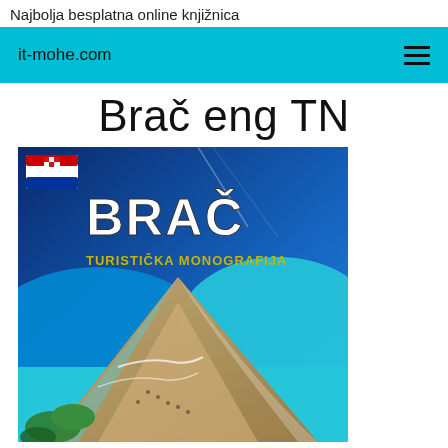Najbolja besplatna online knjižnica
it-mohe.com
Brač eng TN
[Figure (illustration): Book cover of 'BRAČ Turistička Monografija' showing an aerial photograph of Zlatni Rat beach, a distinctive sandy spit extending into turquoise sea, with a Croatian flag in the upper left corner and large white text 'BRAČ' and yellow text 'TURISTIČKA MONOGRAFIJA']